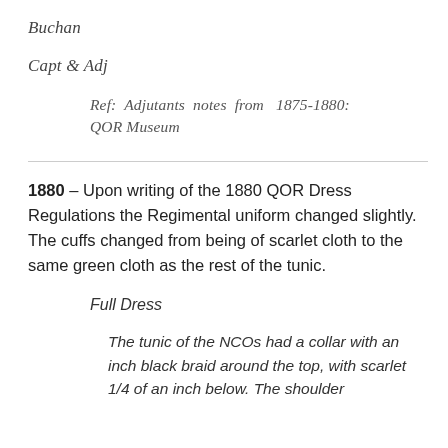Buchan
Capt & Adj
Ref: Adjutants notes from 1875-1880: QOR Museum
1880 – Upon writing of the 1880 QOR Dress Regulations the Regimental uniform changed slightly. The cuffs changed from being of scarlet cloth to the same green cloth as the rest of the tunic.
Full Dress
The tunic of the NCOs had a collar with an inch black braid around the top, with scarlet 1/4 of an inch below. The shoulder